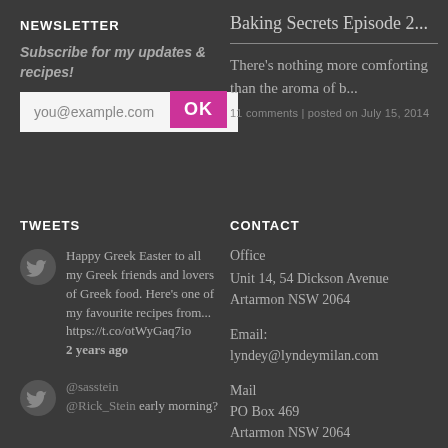NEWSLETTER
Subscribe for my updates & recipes!
you@example.com
Baking Secrets Episode 2...
There's nothing more comforting than the aroma of b...
11 comments | posted on July 15, 2014
TWEETS
Happy Greek Easter to all my Greek friends and lovers of Greek food. Here's one of my favourite recipes from... https://t.co/otWyGaq7io 2 years ago
@sasstein @Rick_Stein early morning?
CONTACT
Office
Unit 14, 54 Dickson Avenue
Artarmon NSW 2064
Email:
lyndey@lyndeymilan.com
Mail
PO Box 469
Artarmon NSW 2064